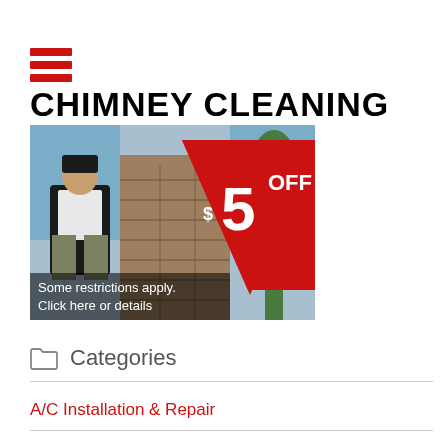[Figure (logo): Red hamburger menu icon with three horizontal red bars]
[Figure (infographic): Chimney cleaning advertisement banner showing a man on a chimney with a red triangle overlay reading '$5 OFF' and text 'Some restrictions apply. Click here or details']
Categories
A/C Installation & Repair
Air Duct Cleaning